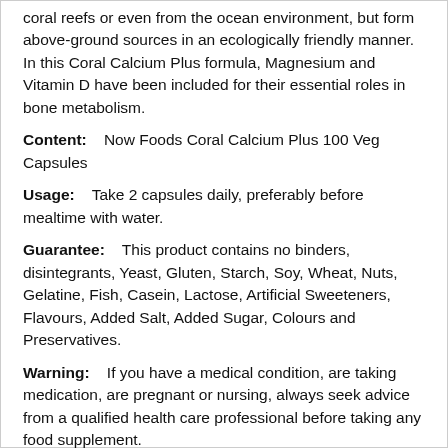coral reefs or even from the ocean environment, but form above-ground sources in an ecologically friendly manner. In this Coral Calcium Plus formula, Magnesium and Vitamin D have been included for their essential roles in bone metabolism.
Content:    Now Foods Coral Calcium Plus 100 Veg Capsules
Usage:    Take 2 capsules daily, preferably before mealtime with water.
Guarantee:    This product contains no binders, disintegrants, Yeast, Gluten, Starch, Soy, Wheat, Nuts, Gelatine, Fish, Casein, Lactose, Artificial Sweeteners, Flavours, Added Salt, Added Sugar, Colours and Preservatives.
Warning:    If you have a medical condition, are taking medication, are pregnant or nursing, always seek advice from a qualified health care professional before taking any food supplement.
Storage:    Store cool and dry.
Manufacturer:    Now Foods (USA)
Nutrition Facts: